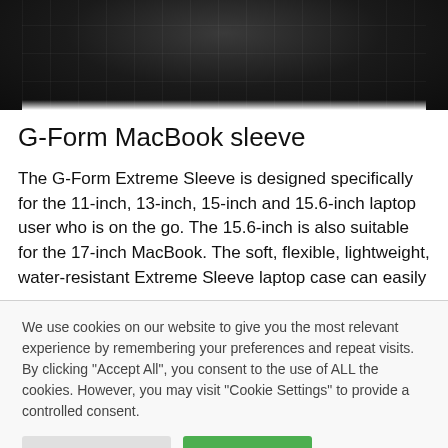[Figure (photo): Close-up photo of a dark black textured laptop sleeve or case with geometric pattern, cropped at top]
G-Form MacBook sleeve
The G-Form Extreme Sleeve is designed specifically for the 11-inch, 13-inch, 15-inch and 15.6-inch laptop user who is on the go. The 15.6-inch is also suitable for the 17-inch MacBook. The soft, flexible, lightweight, water-resistant Extreme Sleeve laptop case can easily
We use cookies on our website to give you the most relevant experience by remembering your preferences and repeat visits. By clicking "Accept All", you consent to the use of ALL the cookies. However, you may visit "Cookie Settings" to provide a controlled consent.
Cookie Settings | Accept All